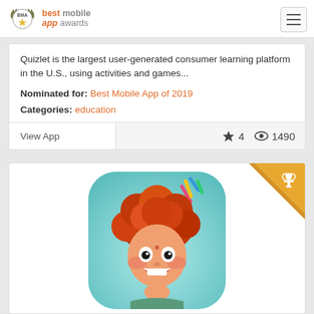[Figure (logo): Best Mobile App Awards logo with laurel wreath and BMA text, plus 'best mobile app awards' text in orange/grey]
Quizlet is the largest user-generated consumer learning platform in the U.S., using activities and games...
Nominated for: Best Mobile App of 2019
Categories: education
View App
4
1490
[Figure (illustration): App icon showing a cartoon red-haired boy with curly hair on a teal background, smiling with hand on chin, with colorful party streamers. Gold trophy badge in top-right corner.]